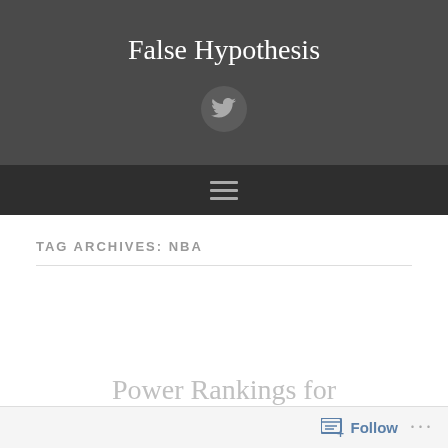False Hypothesis
[Figure (illustration): Twitter bird icon in a dark circle]
[Figure (illustration): Hamburger menu icon (three horizontal lines)]
TAG ARCHIVES: NBA
Power Rankings for
Follow ...